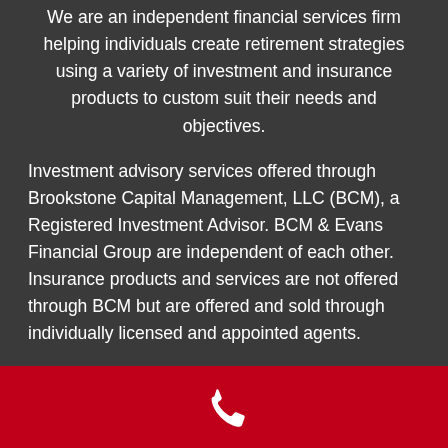We are an independent financial services firm helping individuals create retirement strategies using a variety of investment and insurance products to custom suit their needs and objectives.
Investment advisory services offered through Brookstone Capital Management, LLC (BCM), a Registered Investment Advisor. BCM & Evans Financial Group are independent of each other. Insurance products and services are not offered through BCM but are offered and sold through individually licensed and appointed agents.
Investing involves risk, including the potential loss of principal. No investment strategy can guarantee a profit or protect against loss in periods of declining values. None of
[Figure (illustration): White phone handset icon on a red background footer bar]